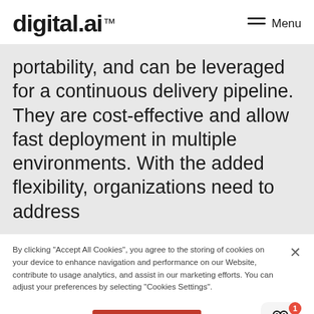digital.ai  Menu
portability, and can be leveraged for a continuous delivery pipeline. They are cost-effective and allow fast deployment in multiple environments. With the added flexibility, organizations need to address
By clicking "Accept All Cookies", you agree to the storing of cookies on your device to enhance navigation and performance on our Website, contribute to usage analytics, and assist in our marketing efforts. You can adjust your preferences by selecting "Cookies Settings".
Cookies Settings
Accept All Cookies